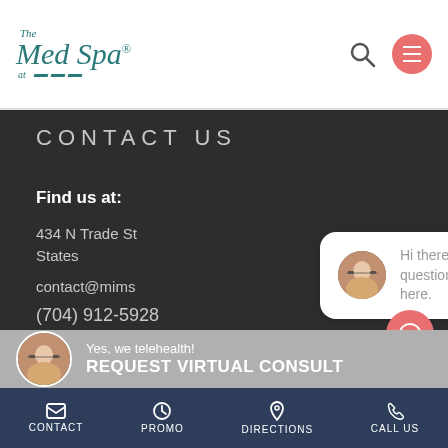[Figure (logo): The Med Spa at Marriott logo in teal/green italic serif font with Marriott chevron marks]
CONTACT US
Find us at:
434 N Trade St
States
contact@mims
(704) 912-5928
[Figure (screenshot): Chat popup with close button and message: Hi there, have a question? Text us here.]
Yes, we telehealth!
REQUEST VIRTUAL CONSULT
CONTACT   PROMO   DIRECTIONS   CALL US